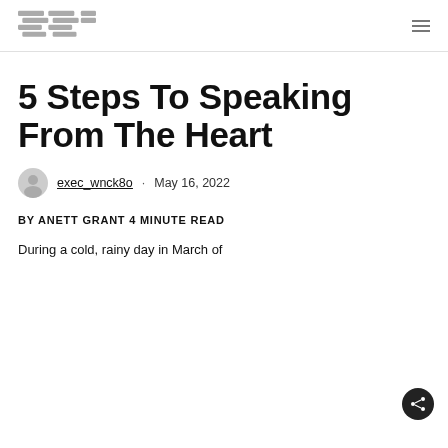[Logo] exec_wnck8o [hamburger menu]
5 Steps To Speaking From The Heart
exec_wnck8o · May 16, 2022
BY ANETT GRANT 4 MINUTE READ
During a cold, rainy day in March of